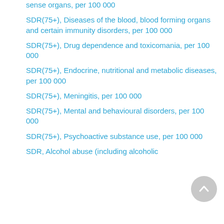sense organs, per 100 000
SDR(75+), Diseases of the blood, blood forming organs and certain immunity disorders, per 100 000
SDR(75+), Drug dependence and toxicomania, per 100 000
SDR(75+), Endocrine, nutritional and metabolic diseases, per 100 000
SDR(75+), Meningitis, per 100 000
SDR(75+), Mental and behavioural disorders, per 100 000
SDR(75+), Psychoactive substance use, per 100 000
SDR, Alcohol abuse (including alcoholic